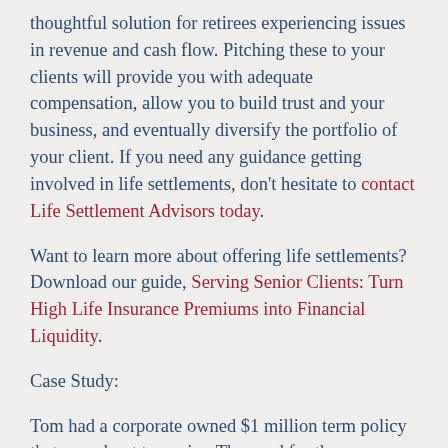thoughtful solution for retirees experiencing issues in revenue and cash flow. Pitching these to your clients will provide you with adequate compensation, allow you to build trust and your business, and eventually diversify the portfolio of your client. If you need any guidance getting involved in life settlements, don't hesitate to contact Life Settlement Advisors today.
Want to learn more about offering life settlements? Download our guide, Serving Senior Clients: Turn High Life Insurance Premiums into Financial Liquidity.
Case Study:
Tom had a corporate owned $1 million term policy that was about to expire. The need for the coverage no longer existed and Tom planned to let the policy lapse. Tom's financial advisor knew Tom was not in the best